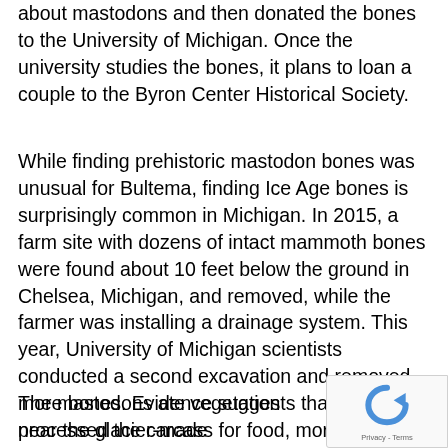about mastodons and then donated the bones to the University of Michigan. Once the university studies the bones, it plans to loan a couple to the Byron Center Historical Society.
While finding prehistoric mastodon bones was unusual for Bultema, finding Ice Age bones is surprisingly common in Michigan. In 2015, a farm site with dozens of intact mammoth bones were found about 10 feet below the ground in Chelsea, Michigan, and removed, while the farmer was installing a drainage system. This year, University of Michigan scientists conducted a second excavation and removed more bones. Evidence suggests that humans processed the carcass for food, more than 15,000 years ago. Prior to this find, it was estimated humans entered the area 13,000 years ago.
The mastodons ate vegetation near the glacier-made in the area. They weighed in at up to 12 tons and could
[Figure (logo): reCAPTCHA badge with spinning arrow logo and Privacy - Terms text]